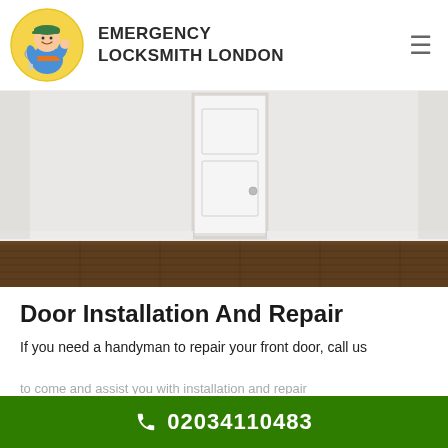[Figure (logo): Emergency Locksmith London logo: cartoon locksmith character in a yellow circle with a key, giving thumbs up]
EMERGENCY LOCKSMITH LONDON
[Figure (photo): Interior room photo showing a white door against a white wall with dark wood flooring]
Door Installation And Repair
If you need a handyman to repair your front door, call us
02034110483